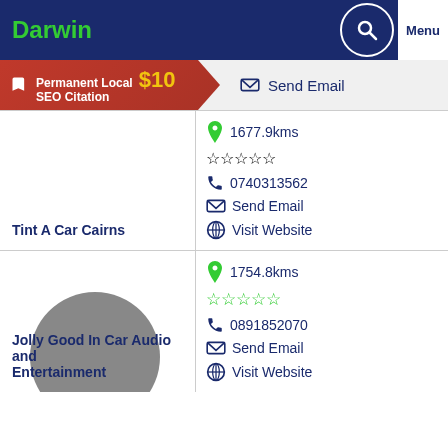Darwin
[Figure (screenshot): Permanent Local SEO Citation $10 advertisement banner in red]
Send Email
Tint A Car Cairns — 1677.9kms, 5 empty stars, 0740313562, Send Email, Visit Website
Jolly Good In Car Audio and Entertainment — 1754.8kms, 5 empty stars, 0891852070, Send Email, Visit Website